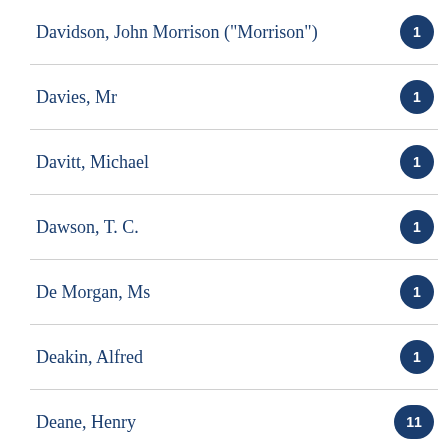Davidson, John Morrison ("Morrison") — 1
Davies, Mr — 1
Davitt, Michael — 1
Dawson, T. C. — 1
De Morgan, Ms — 1
Deakin, Alfred — 1
Deane, Henry — 11
Deane, Ruthven — 1